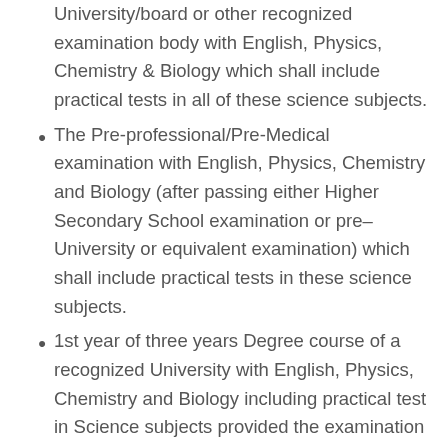examination in Science of a statutory Indian University/board or other recognized examination body with English, Physics, Chemistry & Biology which shall include practical tests in all of these science subjects.
The Pre-professional/Pre-Medical examination with English, Physics, Chemistry and Biology (after passing either Higher Secondary School examination or pre–University or equivalent examination) which shall include practical tests in these science subjects.
1st year of three years Degree course of a recognized University with English, Physics, Chemistry and Biology including practical test in Science subjects provided the examination is a University Examination.
Senior Secondary of a statutory Examination Board of Indian School Certificate examination of 12 years